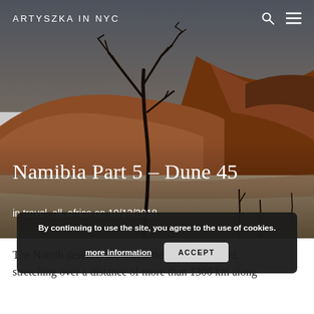ARTYSZKA IN NYC
[Figure (photo): Dramatic desert landscape with a dead bare tree silhouetted against a grey sky, surrounded by red sand dunes of the Namib desert (Deadvlei area)]
Namibia Part 5 – Dune 45
in travel, all, africa on 10/13/2018
By continuing to use the site, you agree to the use of cookies.
more information   ACCEPT
The Namib desert is the oldest desert in the world, stretching over a distance of more than 1300 km along